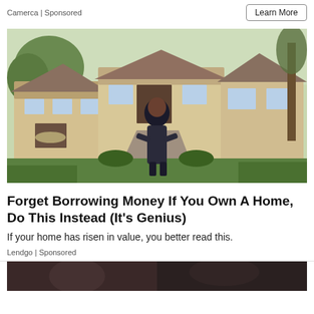Camerca | Sponsored
Learn More
[Figure (photo): Woman in dark dress standing in front of a large luxury home with lush green lawn and trees]
Forget Borrowing Money If You Own A Home, Do This Instead (It's Genius)
If your home has risen in value, you better read this.
Lendgo | Sponsored
[Figure (photo): Partial view of another advertisement image at the bottom of the page]